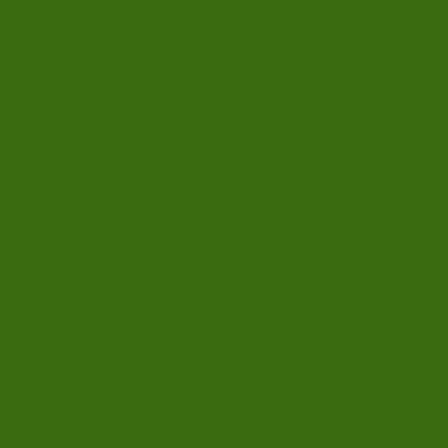[Figure (other): Large dark green rectangular block occupying the left portion of the page]
Wil
An how
We
Schools sp numbers:
It's
See the Fl
Will collec the stack w
Thi
His it
Will showe
Will showe
"Inc con on sch to